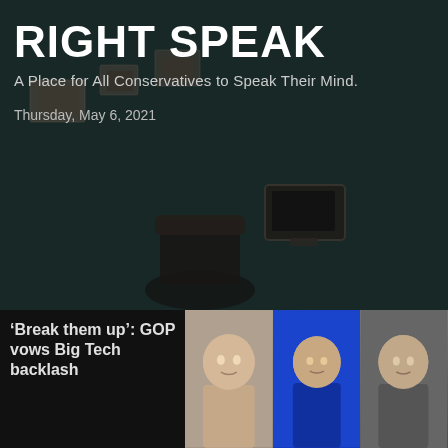RIGHT SPEAK
A Place for All Conservatives to Speak Their Mind.
Thursday, May 6, 2021
‘Break them up’: GOP Vows Big Tech Backlash Over Facebook Trump Ban; Facebook Oversight Board That Upheld Trump Ban Mostly Tied to Soros; TRUMP’S REACTION, and related stories
‘Break them up’: GOP vows Big Tech backlash
[Figure (photo): Three headshot photos of people side by side against colored backgrounds]